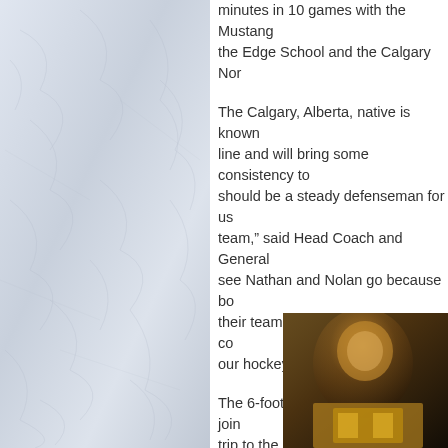[Figure (illustration): Ice rink surface texture background image occupying the left panel of the page]
minutes in 10 games with the Mustangs, the Edge School and the Calgary Nor...
The Calgary, Alberta, native is known line and will bring some consistency to should be a steady defenseman for us team," said Head Coach and General see Nathan and Nolan go because bo their teammates. However, we are co our hockey club better."
The 6-foot-3 Thom is expected to join trip to the Okanagan, which begins ag Friday night.
For further information or comment on Valley Bulldogs' head coach and gene...
[Figure (photo): Partial photo of a person, visible in the bottom right corner of the page]